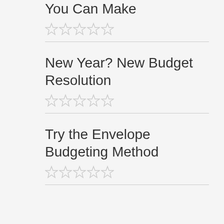You Can Make
★★★★★ (empty stars)
New Year? New Budget Resolution
★★★★★ (empty stars)
Try the Envelope Budgeting Method
★★★★★ (empty stars)